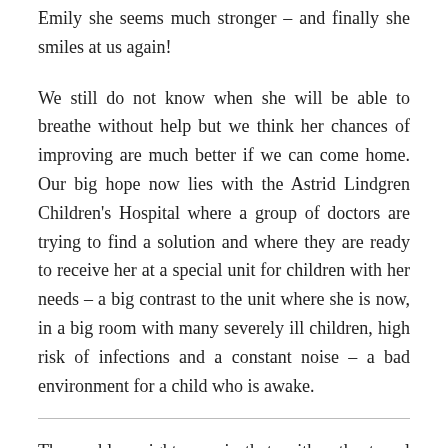Emily she seems much stronger – and finally she smiles at us again!
We still do not know when she will be able to breathe without help but we think her chances of improving are much better if we can come home. Our big hope now lies with the Astrid Lindgren Children's Hospital where a group of doctors are trying to find a solution and where they are ready to receive her at a special unit for children with her needs – a big contrast to the unit where she is now, in a big room with many severely ill children, high risk of infections and a constant noise – a bad environment for a child who is awake.
The problem right now is that neither the travel insurance, home insurance, the Swedish authorities nor the Swedish Embassy can help the family pay for their trip back home. Diamanda has in all received very little